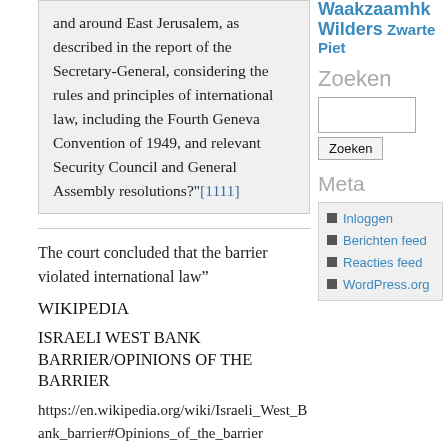and around East Jerusalem, as described in the report of the Secretary-General, considering the rules and principles of international law, including the Fourth Geneva Convention of 1949, and relevant Security Council and General Assembly resolutions?"[1111]
The court concluded that the barrier violated international law”
WIKIPEDIA
ISRAELI WEST BANK BARRIER/OPINIONS OF THE BARRIER
https://en.wikipedia.org/wiki/Israeli_West_Bank_barrier#Opinions_of_the_barrier
ORIGINAL SOURCE
Waakzaamhk Wilders Zwarte Piet
Zoeken
Inloggen
Berichten feed
Reacties feed
WordPress.org
Meta